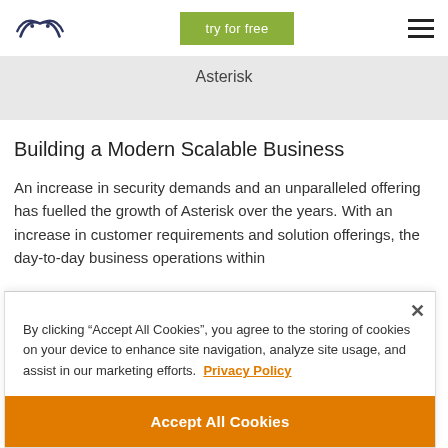try for free
Asterisk
Building a Modern Scalable Business
An increase in security demands and an unparalleled offering has fuelled the growth of Asterisk over the years. With an increase in customer requirements and solution offerings, the day-to-day business operations within
By clicking “Accept All Cookies”, you agree to the storing of cookies on your device to enhance site navigation, analyze site usage, and assist in our marketing efforts. Privacy Policy
Accept All Cookies